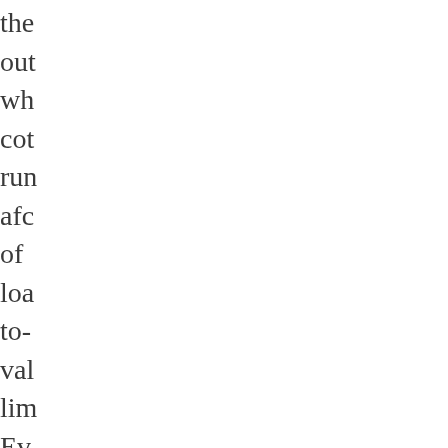the
out
wh
cot
rur
afc
of
loa
to-
val
lim
Ev
in
cot
wh
the
are
sig
Mu